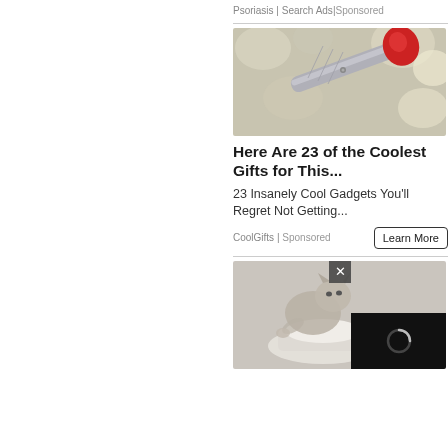Psoriasis | Search Ads | Sponsored
[Figure (photo): Close-up photo of a metallic pen or tool with a red rubber tip against a blurred floral background]
Here Are 23 of the Coolest Gifts for This...
23 Insanely Cool Gadgets You'll Regret Not Getting...
CoolGifts | Sponsored
[Figure (photo): A cat sitting near a toilet or bowl, partially obscured. In the bottom-right corner is a video player overlay with a loading spinner and a close button.]